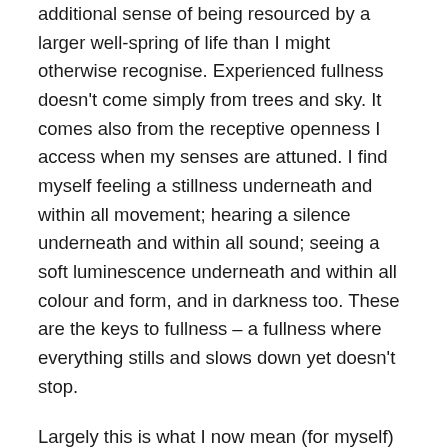additional sense of being resourced by a larger well-spring of life than I might otherwise recognise. Experienced fullness doesn't come simply from trees and sky. It comes also from the receptive openness I access when my senses are attuned. I find myself feeling a stillness underneath and within all movement; hearing a silence underneath and within all sound; seeing a soft luminescence underneath and within all colour and form, and in darkness too. These are the keys to fullness – a fullness where everything stills and slows down yet doesn't stop.
Largely this is what I now mean (for myself) by a 'contemplative' state. Its development reflects a magpie approach to learning and my felt sense of what is right for me. I discovered the stillness through Buddhist breath meditation (movement of the breath as the belly rises and